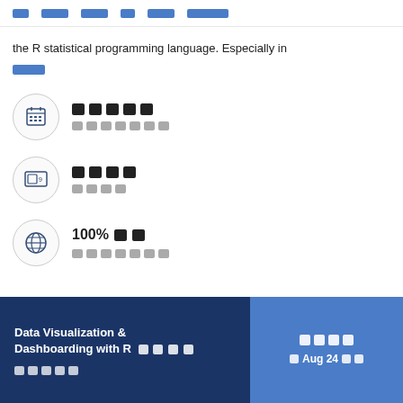Navigation bar with redacted menu items
the R statistical programming language. Especially in [redacted]
[icon: calendar] [redacted title] [redacted subtitle]
[icon: screen/video] [redacted title] [redacted subtitle]
[icon: globe] 100% [redacted] [redacted subtitle]
Data Visualization & Dashboarding with R [redacted] [redacted] | [redacted button] Aug 24 [redacted]